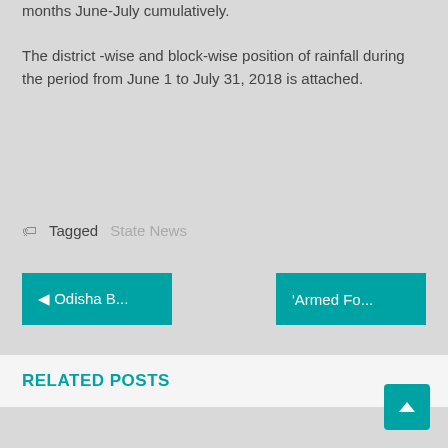months June-July cumulatively.

The district -wise and block-wise position of rainfall during the period from June 1 to July 31, 2018 is attached.
Tagged   State News
◄ Odisha B...
'Armed Fo...
RELATED POSTS